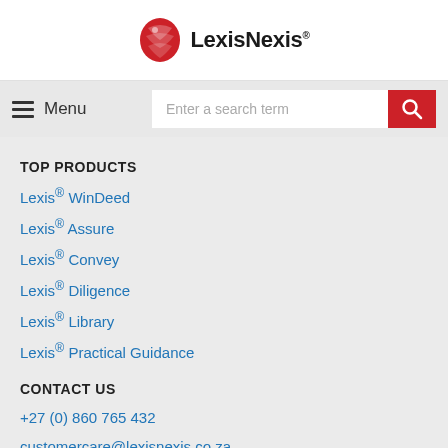[Figure (logo): LexisNexis logo with red feather/globe icon and LexisNexis wordmark]
[Figure (screenshot): Navigation bar with hamburger Menu button on the left and a search text field with red search button on the right]
TOP PRODUCTS
Lexis® WinDeed
Lexis® Assure
Lexis® Convey
Lexis® Diligence
Lexis® Library
Lexis® Practical Guidance
CONTACT US
+27 (0) 860 765 432
customercare@lexisnexis.co.za